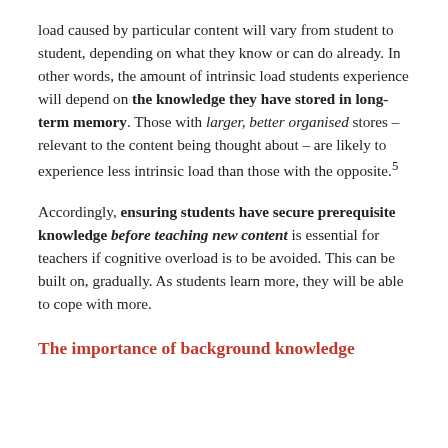load caused by particular content will vary from student to student, depending on what they know or can do already. In other words, the amount of intrinsic load students experience will depend on the knowledge they have stored in long-term memory. Those with larger, better organised stores – relevant to the content being thought about – are likely to experience less intrinsic load than those with the opposite.⁵
Accordingly, ensuring students have secure prerequisite knowledge before teaching new content is essential for teachers if cognitive overload is to be avoided. This can be built on, gradually. As students learn more, they will be able to cope with more.
The importance of background knowledge